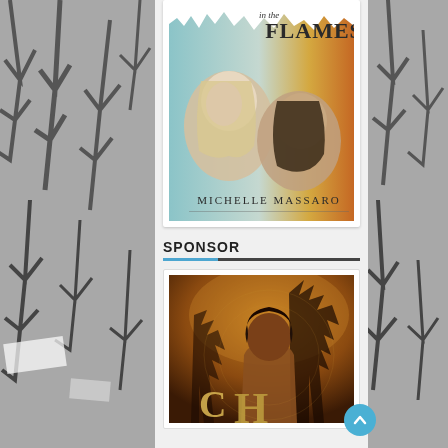[Figure (photo): Book cover for 'In the Flames' by Michelle Massaro, showing two female faces blending into a misty and fiery autumn background]
SPONSOR
[Figure (photo): Book cover showing a young male figure with dark background and golden/orange tones, with large letters C and H visible at the bottom]